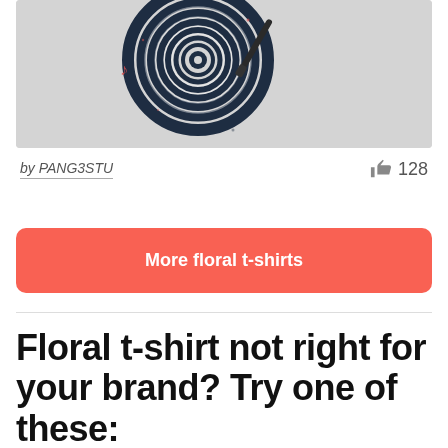[Figure (illustration): A vinyl record illustration with concentric dark navy circles on a light grey background, with small colorful speckles and a stylus/needle detail on the right side.]
by PANG3STU   👍 128
More floral t-shirts
Floral t-shirt not right for your brand? Try one of these: